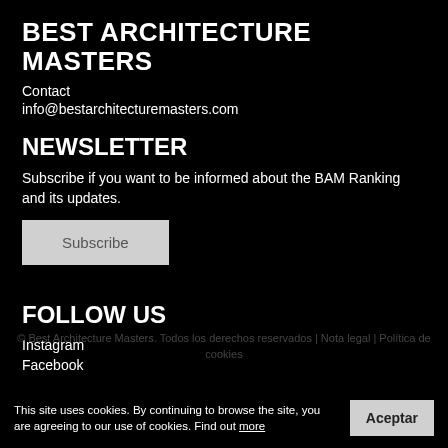BEST ARCHITECTURE MASTERS
Contact
info@bestarchitecturemasters.com
NEWSLETTER
Subscribe if you want to be informed about the BAM Ranking and its updates.
Subscribe
FOLLOW US
Instagram
Facebook
This site uses cookies. By continuing to browse the site, you are agreeing to our use of cookies. Find out more
Aceptar